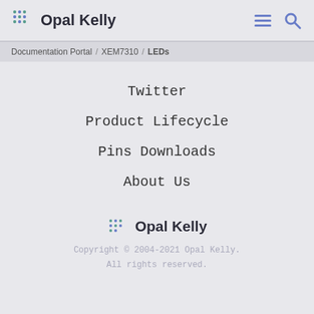Opal Kelly
Documentation Portal / XEM7310 / LEDs
Twitter
Product Lifecycle
Pins Downloads
About Us
Opal Kelly
Copyright © 2004-2021 Opal Kelly.
All rights reserved.